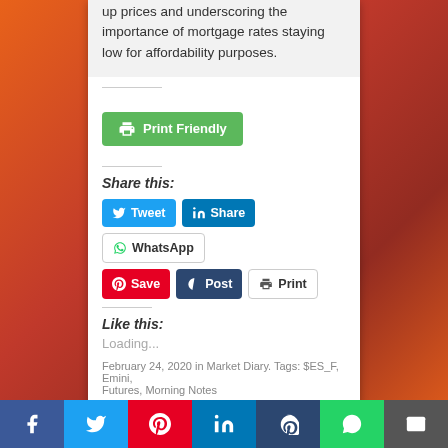up prices and underscoring the importance of mortgage rates staying low for affordability purposes.
[Figure (screenshot): Green Print Friendly button with printer icon]
Share this:
[Figure (screenshot): Social share buttons: Tweet, Share (LinkedIn), WhatsApp, Save (Pinterest), Post (Tumblr), Print]
Like this:
Loading...
February 24, 2020 in Market Diary. Tags: $ES_F, Emini, Futures, Morning Notes
[Figure (screenshot): Bottom social share bar with Facebook, Twitter, Pinterest, LinkedIn, Tumblr, WhatsApp, Email icons]